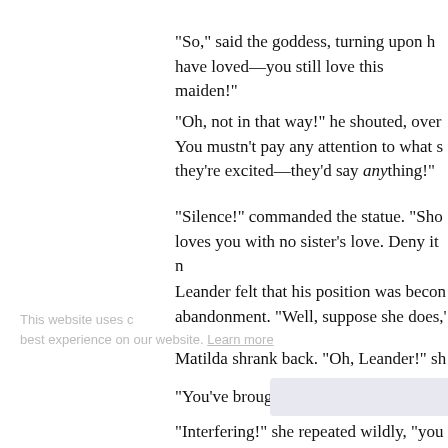"So," said the goddess, turning upon h have loved—you still love this maiden!"
"Oh, not in that way!" he shouted, over You mustn't pay any attention to what s they're excited—they'd say anything!"
"Silence!" commanded the statue. "Sho loves you with no sister's love. Deny it n
Leander felt that his position was becon abandonment. "Well, suppose she does,'
Matilda shrank back. "Oh, Leander!" sh
"You've brought it on yourself!" he said
"Interfering!" she repeated wildly, "you and see you giving yourself up to, nobo and breath to speak, I shall stay here an